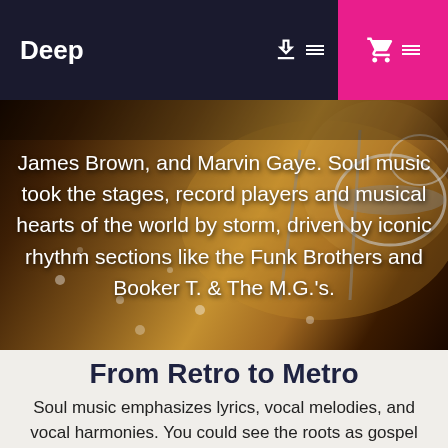Deep
[Figure (photo): Dark background photo of a drum kit with warm amber/brown tones, with overlaid white text about soul music history featuring James Brown and Marvin Gaye.]
James Brown, and Marvin Gaye. Soul music took the stages, record players and musical hearts of the world by storm, driven by iconic rhythm sections like the Funk Brothers and Booker T. & The M.G.'s.
From Retro to Metro
Soul music emphasizes lyrics, vocal melodies, and vocal harmonies. You could see the roots as gospel music without the religious factor. Typical songs emphasize melody and vocals. Soul music is much